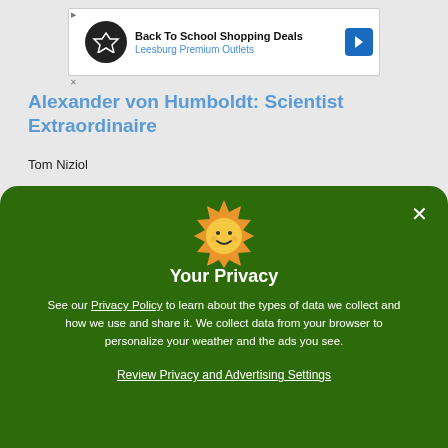[Figure (screenshot): Advertisement banner for Back To School Shopping Deals at Leesburg Premium Outlets]
Alexander von Humboldt: Scientist Extraordinaire
Tom Niziol
[Figure (illustration): Smiling sun emoji/icon in orange and yellow on green modal background]
Your Privacy
See our Privacy Policy to learn about the types of data we collect and how we use and share it. We collect data from your browser to personalize your weather and the ads you see.
Review Privacy and Advertising Settings